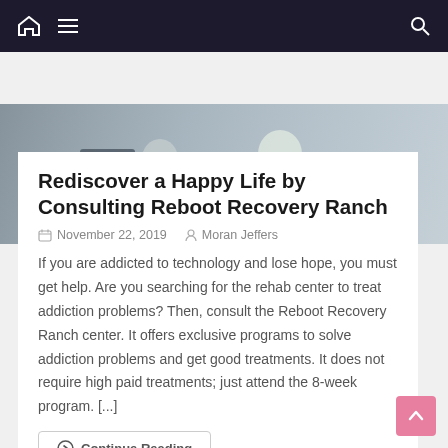Navigation bar with home icon, hamburger menu, and search icon
[Figure (photo): Hero image showing people at what appears to be a medical or office setting, partially visible]
Rediscover a Happy Life by Consulting Reboot Recovery Ranch
November 22, 2019   Moran Jeffers
If you are addicted to technology and lose hope, you must get help. Are you searching for the rehab center to treat addiction problems? Then, consult the Reboot Recovery Ranch center. It offers exclusive programs to solve addiction problems and get good treatments. It does not require high paid treatments; just attend the 8-week program. [...]
Continue Reading